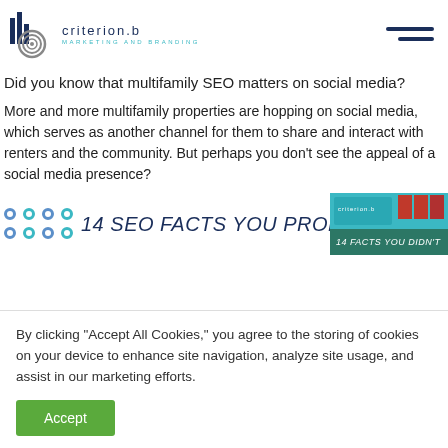criterion.b — MARKETING AND BRANDING
Did you know that multifamily SEO matters on social media?
More and more multifamily properties are hopping on social media, which serves as another channel for them to share and interact with renters and the community. But perhaps you don't see the appeal of a social media presence?
[Figure (infographic): Infographic banner with colored dot pattern on left, bold italic text '14 SEO FACTS YOU PROBABLY DIDN'T' in dark blue, and a teal/green thumbnail image on the right showing '14 FACTS YOU DIDN'T']
By clicking "Accept All Cookies," you agree to the storing of cookies on your device to enhance site navigation, analyze site usage, and assist in our marketing efforts.